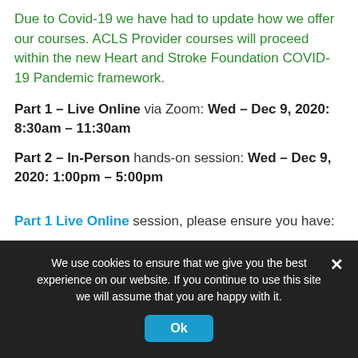Due to Covid-19 we have had to update how we offer our courses. ACLS Provider courses will proceed within the new Heart and Stroke Foundation COVID-19 Pandemic framework.
Part 1 – Live Online via Zoom: Wed – Dec 9, 2020: 8:30am – 11:30am
Part 2 – In-Person hands-on session: Wed – Dec 9, 2020: 1:00pm – 5:00pm
Part 1 Live Online session, please ensure you have:
We use cookies to ensure that we give you the best experience on our website. If you continue to use this site we will assume that you are happy with it.